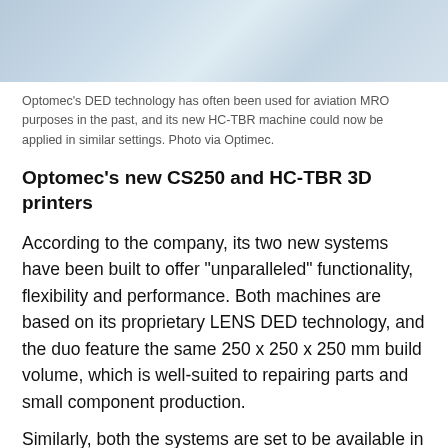[Figure (photo): Partial aerial or outdoor photo with blue-grey tones, likely showing an aircraft or industrial setting related to Optomec DED technology for aviation MRO]
Optomec’s DED technology has often been used for aviation MRO purposes in the past, and its new HC-TBR machine could now be applied in similar settings. Photo via Optimec.
Optomec’s new CS250 and HC-TBR 3D printers
According to the company, its two new systems have been built to offer “unparalleled” functionality, flexibility and performance. Both machines are based on its proprietary LENS DED technology, and the duo feature the same 250 x 250 x 250 mm build volume, which is well-suited to repairing parts and small component production.
Similarly, both the systems are set to be available in either three axis or five axis versions, and will be shipped with a new “next generation” print head. The enhanced apparatus is capable of automatically